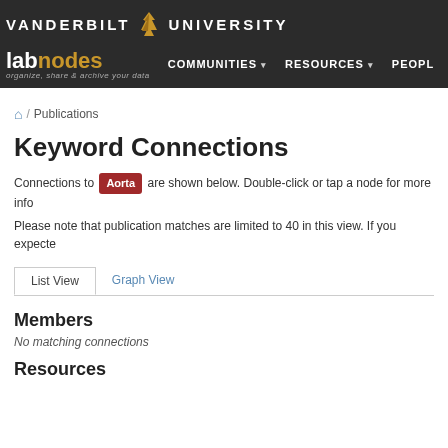[Figure (logo): Vanderbilt University labnodes website header with dark background, Vanderbilt University logo and text, labnodes brand, and navigation items: COMMUNITIES, RESOURCES, PEOPLE]
/ Publications
Keyword Connections
Connections to Aorta are shown below. Double-click or tap a node for more info
Please note that publication matches are limited to 40 in this view. If you expecte
List View   Graph View
Members
No matching connections
Resources